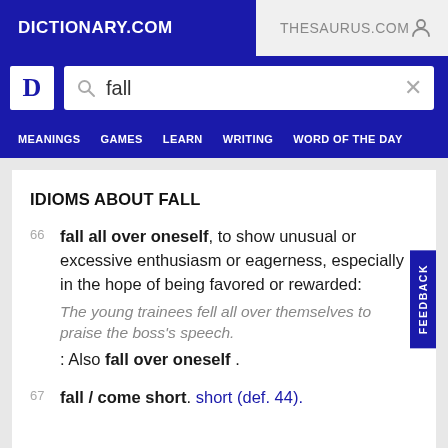DICTIONARY.COM   THESAURUS.COM
[Figure (screenshot): Dictionary.com logo with search box containing the word 'fall']
MEANINGS  GAMES  LEARN  WRITING  WORD OF THE DAY
IDIOMS ABOUT FALL
66 fall all over oneself, to show unusual or excessive enthusiasm or eagerness, especially in the hope of being favored or rewarded: The young trainees fell all over themselves to praise the boss's speech. : Also fall over oneself .
67 fall / come short. short (def. 44).